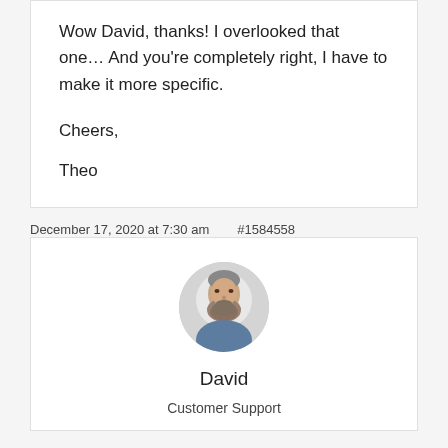Wow David, thanks! I overlooked that one... And you’re completely right, I have to make it more specific.

Cheers,

Theo
December 17, 2020 at 7:30 am    #1584558
[Figure (photo): Circular avatar photo of a middle-aged bearded man with grey/brown beard, wearing a blue shirt, in front of a light background.]
David
Customer Support